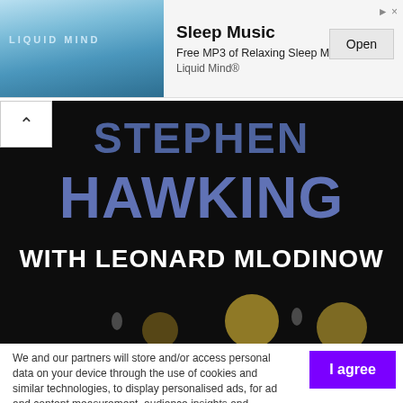[Figure (screenshot): Ad banner for Liquid Mind sleep music with open button]
[Figure (photo): Book cover showing 'STEPHEN HAWKING WITH LEONARD MLODINOW' with large blue letters on black background]
We and our partners will store and/or access personal data on your device through the use of cookies and similar technologies, to display personalised ads, for ad and content measurement, audience insights and product development.

By clicking 'I agree,' you consent to this, or you can manage your preferences.